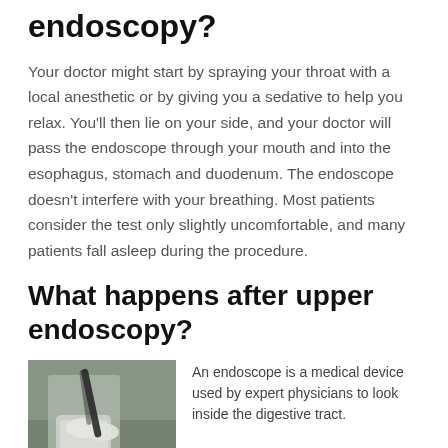endoscopy?
Your doctor might start by spraying your throat with a local anesthetic or by giving you a sedative to help you relax. You'll then lie on your side, and your doctor will pass the endoscope through your mouth and into the esophagus, stomach and duodenum. The endoscope doesn't interfere with your breathing. Most patients consider the test only slightly uncomfortable, and many patients fall asleep during the procedure.
What happens after upper endoscopy?
[Figure (photo): A person in protective clothing holding an endoscope device]
An endoscope is a medical device used by expert physicians to look inside the digestive tract.